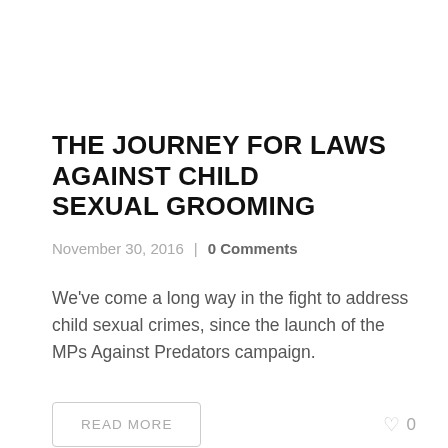THE JOURNEY FOR LAWS AGAINST CHILD SEXUAL GROOMING
November 30, 2016  |  0 Comments
We've come a long way in the fight to address child sexual crimes, since the launch of the MPs Against Predators campaign.
READ MORE
0